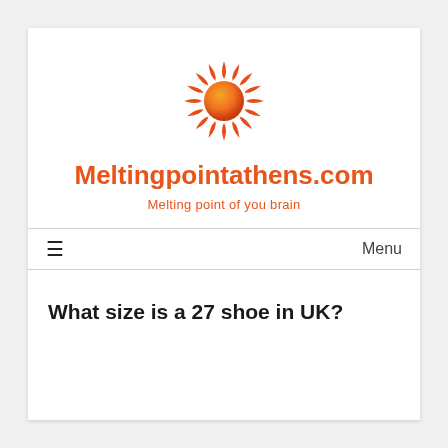[Figure (logo): Sun logo with orange radiating spikes and orange-red gradient center circle]
Meltingpointathens.com
Melting point of you brain
≡  Menu
What size is a 27 shoe in UK?